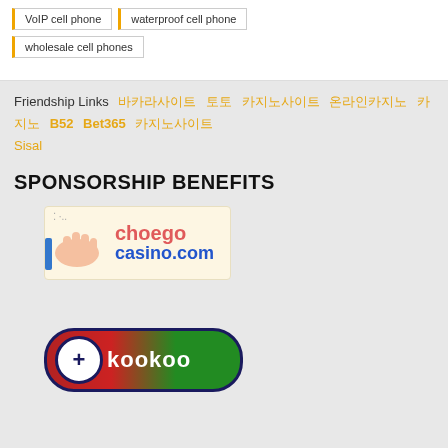VoIP cell phone
waterproof cell phone
wholesale cell phones
Friendship Links   바카라사이트   토토   카지노사이트   온라인카지노   카지노   B52   Bet365   카지노사이트   Sisal
SPONSORSHIP BENEFITS
[Figure (logo): choego casino.com logo with hand illustration on cream background]
[Figure (logo): kookoo logo with plus sign circle on red-green pill shaped background with dark blue border]